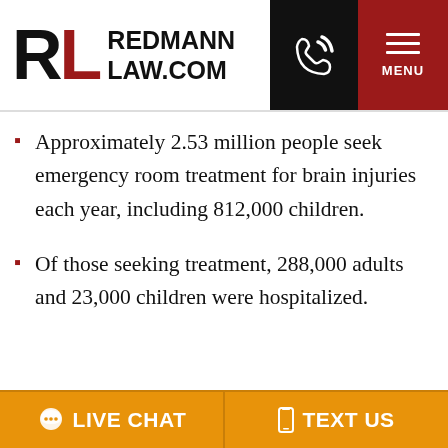[Figure (logo): Redmann Law.com logo with RL initials in black and red, beside text REDMANN LAW.COM]
Approximately 2.53 million people seek emergency room treatment for brain injuries each year, including 812,000 children.
Of those seeking treatment, 288,000 adults and 23,000 children were hospitalized.
LIVE CHAT   TEXT US